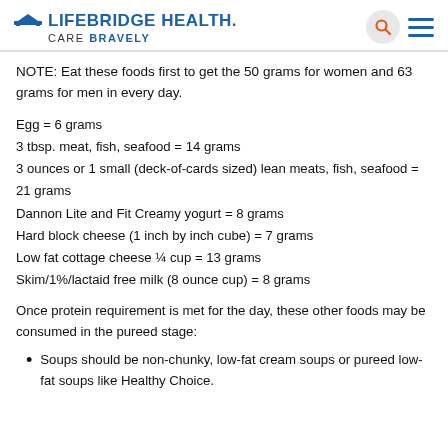LIFEBRIDGE HEALTH. CARE BRAVELY
NOTE: Eat these foods first to get the 50 grams for women and 63 grams for men in every day.
Egg = 6 grams
3 tbsp. meat, fish, seafood = 14 grams
3 ounces or 1 small (deck-of-cards sized) lean meats, fish, seafood = 21 grams
Dannon Lite and Fit Creamy yogurt = 8 grams
Hard block cheese (1 inch by inch cube) = 7 grams
Low fat cottage cheese ¼ cup = 13 grams
Skim/1%/lactaid free milk (8 ounce cup) = 8 grams
Once protein requirement is met for the day, these other foods may be consumed in the pureed stage:
Soups should be non-chunky, low-fat cream soups or pureed low-fat soups like Healthy Choice.